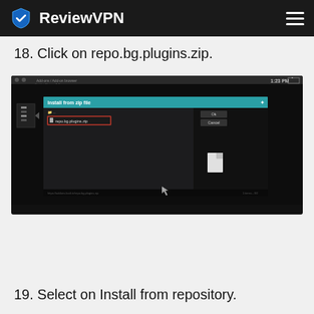ReviewVPN
18. Click on repo.bg.plugins.zip.
[Figure (screenshot): Screenshot of Kodi Add-on browser showing an 'Install from zip file' dialog with repo.bg.plugins.zip file selected and highlighted with a red border]
19. Select on Install from repository.